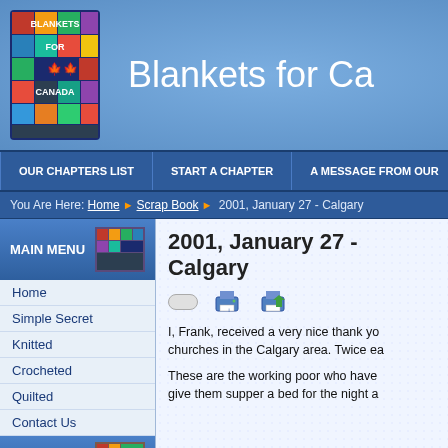[Figure (logo): Blankets for Canada quilt logo - colorful patchwork quilt with text BLANKETS FOR CANADA and maple leaf]
Blankets for Ca
OUR CHAPTERS LIST | START A CHAPTER | A MESSAGE FROM OUR
You Are Here: Home > Scrap Book > 2001, January 27 - Calgary
MAIN MENU
Home
Simple Secret
Knitted
Crocheted
Quilted
Contact Us
RESOURCES
2001, January 27 - Calgary
I, Frank, received a very nice thank yo... churches in the Calgary area. Twice ea...
These are the working poor who have... give them supper a bed for the night a...